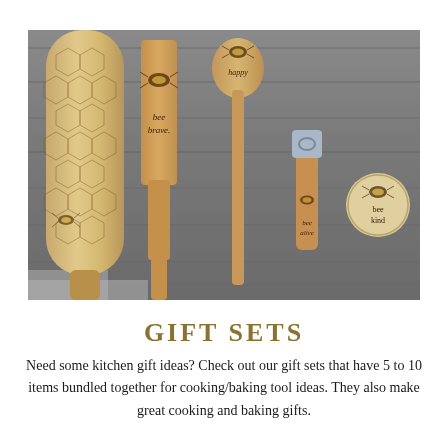[Figure (photo): Photograph of wooden kitchen tools with bee-themed engravings laid on a weathered grey wooden surface. Items include a rolling pin with honeycomb and bee pattern, a spatula engraved with 'bee brave', a long spoon with 'bee happy', a bottle opener with bee design, and a small round token engraved with 'bee kind'.]
GIFT SETS
Need some kitchen gift ideas? Check out our gift sets that have 5 to 10 items bundled together for cooking/baking tool ideas. They also make great cooking and baking gifts.